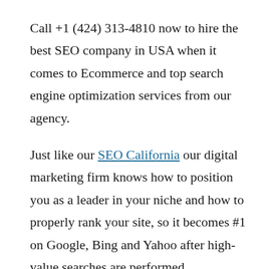Call +1 (424) 313-4810 now to hire the best SEO company in USA when it comes to Ecommerce and top search engine optimization services from our agency.
Just like our SEO California our digital marketing firm knows how to position you as a leader in your niche and how to properly rank your site, so it becomes #1 on Google, Bing and Yahoo after high-value searches are performed.